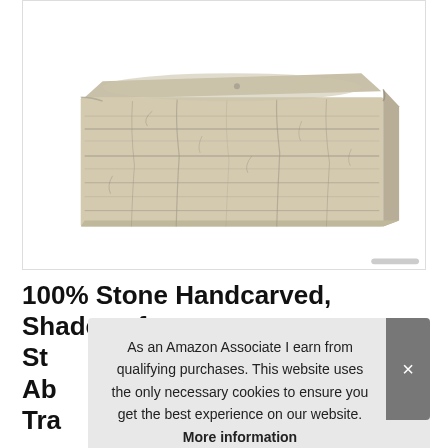[Figure (photo): A rectangular stone handcarved tray or sink with rough textured travertine surface in shades of beige/cream, photographed on white background]
100% Stone Handcarved, Shades of St... Ab... Tra...
As an Amazon Associate I earn from qualifying purchases. This website uses the only necessary cookies to ensure you get the best experience on our website. More information